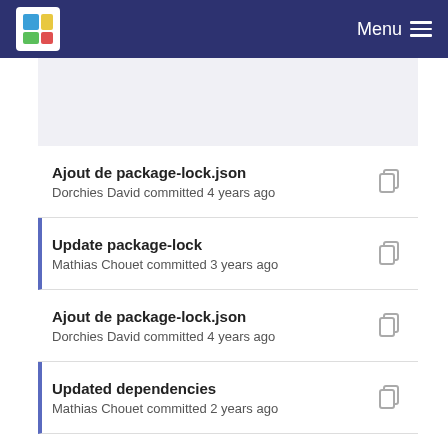Menu
Ajout de package-lock.json
Dorchies David committed 4 years ago
Update package-lock
Mathias Chouet committed 3 years ago
Ajout de package-lock.json
Dorchies David committed 4 years ago
Updated dependencies
Mathias Chouet committed 2 years ago